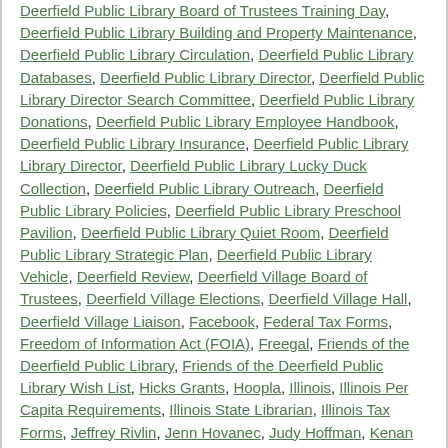Deerfield Public Library Board of Trustees Training Day, Deerfield Public Library Building and Property Maintenance, Deerfield Public Library Circulation, Deerfield Public Library Databases, Deerfield Public Library Director, Deerfield Public Library Director Search Committee, Deerfield Public Library Donations, Deerfield Public Library Employee Handbook, Deerfield Public Library Insurance, Deerfield Public Library Library Director, Deerfield Public Library Lucky Duck Collection, Deerfield Public Library Outreach, Deerfield Public Library Policies, Deerfield Public Library Preschool Pavilion, Deerfield Public Library Quiet Room, Deerfield Public Library Strategic Plan, Deerfield Public Library Vehicle, Deerfield Review, Deerfield Village Board of Trustees, Deerfield Village Elections, Deerfield Village Hall, Deerfield Village Liaison, Facebook, Federal Tax Forms, Freedom of Information Act (FOIA), Freegal, Friends of the Deerfield Public Library, Friends of the Deerfield Public Library Wish List, Hicks Grants, Hoopla, Illinois, Illinois Per Capita Requirements, Illinois State Librarian, Illinois Tax Forms, Jeffrey Rivlin, Jenn Hovanec, Judy Hoffman, Kenan Abosch, Lake Forest College, Lake Forest College Jobs Fair, League of Women Voters Candidate Night...